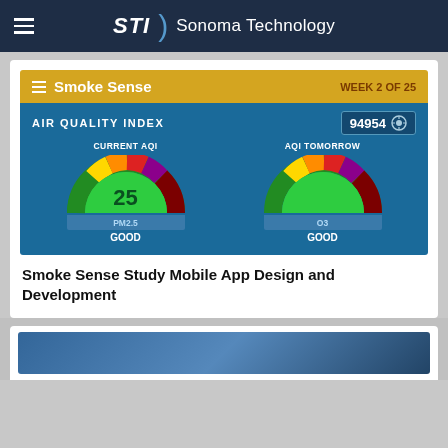STI | Sonoma Technology
[Figure (screenshot): Smoke Sense mobile app screenshot showing Air Quality Index screen. Golden top bar with hamburger menu, 'Smoke Sense' title, and 'WEEK 2 OF 25'. Dark blue body with 'AIR QUALITY INDEX' label, location code 94954. Two semicircular AQI gauges: CURRENT AQI showing 25 for PM2.5 rated GOOD, and AQI TOMORROW showing O3 rated GOOD. Gauges have rainbow color bands from green through yellow, orange, red, purple, dark red.]
Smoke Sense Study Mobile App Design and Development